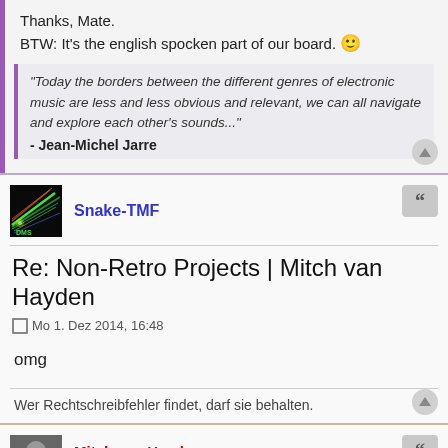Thanks, Mate.
BTW: It's the english spocken part of our board. 🙂
"Today the borders between the different genres of electronic music are less and less obvious and relevant, we can all navigate and explore each other's sounds..."
- Jean-Michel Jarre
Snake-TMF
Re: Non-Retro Projects | Mitch van Hayden
Mo 1. Dez 2014, 16:48
omg
Wer Rechtschreibfehler findet, darf sie behalten.
Mitch van Hayden
Administrator